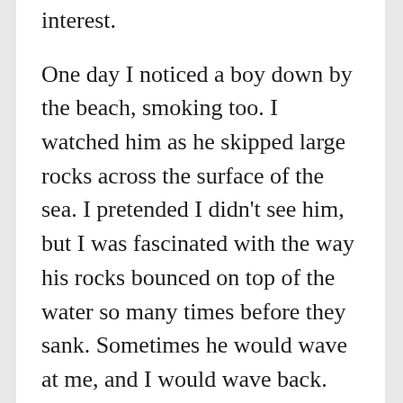interest.
One day I noticed a boy down by the beach, smoking too. I watched him as he skipped large rocks across the surface of the sea. I pretended I didn't see him, but I was fascinated with the way his rocks bounced on top of the water so many times before they sank. Sometimes he would wave at me, and I would wave back. Our waving game went on this way for months. Any time he tried to walk toward me, though, I would get up and run away. The truth is, I didn't know what I'd say to him if we met.
Then one day he was gone. Each day, I'd leave my last class and run down to the beach in the